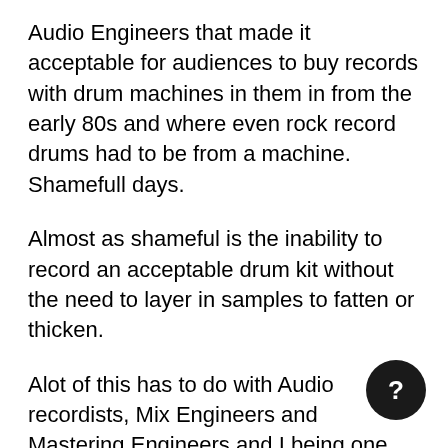Audio Engineers that made it acceptable for audiences to buy records with drum machines in them in from the early 80s and where even rock record drums had to be from a machine. Shamefull days.
Almost as shameful is the inability to record an acceptable drum kit without the need to layer in samples to fatten or thicken.
Alot of this has to do with Audio recordists, Mix Engineers and Mastering Engineers and I being one share responsibility for killing rock!
Nowadays even pop and most genres inc Country music have a very compressed backing track and a very loudly compressed